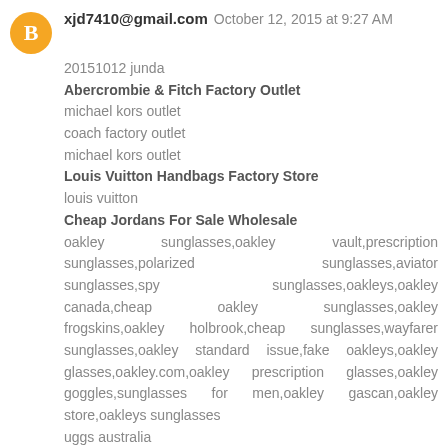xjd7410@gmail.com  October 12, 2015 at 9:27 AM
20151012 junda
Abercrombie & Fitch Factory Outlet
michael kors outlet
coach factory outlet
michael kors outlet
Louis Vuitton Handbags Factory Store
louis vuitton
Cheap Jordans For Sale Wholesale
oakley sunglasses,oakley vault,prescription sunglasses,polarized sunglasses,aviator sunglasses,spy sunglasses,oakleys,oakley canada,cheap oakley sunglasses,oakley frogskins,oakley holbrook,cheap sunglasses,wayfarer sunglasses,oakley standard issue,fake oakleys,oakley glasses,oakley.com,oakley prescription glasses,oakley goggles,sunglasses for men,oakley gascan,oakley store,oakleys sunglasses
uggs australia
ugg boots